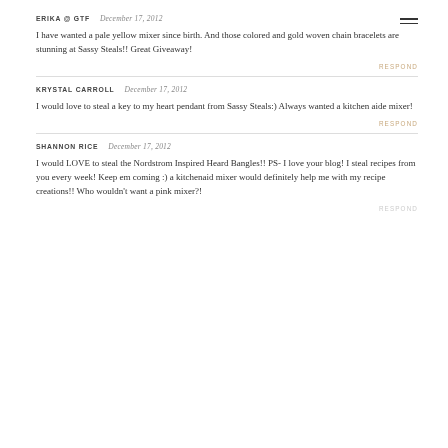ERIKA @ GTF   December 17, 2012
I have wanted a pale yellow mixer since birth. And those colored and gold woven chain bracelets are stunning at Sassy Steals!! Great Giveaway!
RESPOND
KRYSTAL CARROLL   December 17, 2012
I would love to steal a key to my heart pendant from Sassy Steals:) Always wanted a kitchen aide mixer!
RESPOND
SHANNON RICE   December 17, 2012
I would LOVE to steal the Nordstrom Inspired Heard Bangles!! PS- I love your blog! I steal recipes from you every week! Keep em coming :) a kitchenaid mixer would definitely help me with my recipe creations!! Who wouldn't want a pink mixer?!
RESPOND